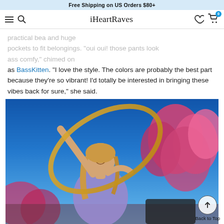Free Shipping on US Orders $80+
iHeartRaves
as BassKitten. “I love the style. The colors are probably the best part because they’re so vibrant! I’d totally be interested in bringing these vibes back for sure,” she said.
[Figure (photo): A woman spinning a hula hoop outdoors under a bright blue sky with pink-hued trees in the background, wearing a light purple top, smiling and looking up.]